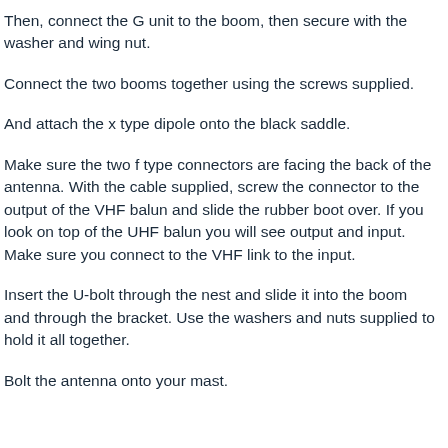Then, connect the G unit to the boom, then secure with the washer and wing nut.
Connect the two booms together using the screws supplied.
And attach the x type dipole onto the black saddle.
Make sure the two f type connectors are facing the back of the antenna. With the cable supplied, screw the connector to the output of the VHF balun and slide the rubber boot over. If you look on top of the UHF balun you will see output and input. Make sure you connect to the VHF link to the input.
Insert the U-bolt through the nest and slide it into the boom and through the bracket. Use the washers and nuts supplied to hold it all together.
Bolt the antenna onto your mast.